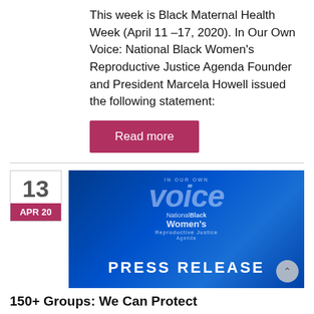This week is Black Maternal Health Week (April 11 –17, 2020). In Our Own Voice: National Black Women's Reproductive Justice Agenda Founder and President Marcela Howell issued the following statement:
Read more
13 APR 20
[Figure (other): Press release banner image with blue gradient background showing 'In Our Own Voice: National Black Women's Reproductive Justice Agenda' logo and 'PRESS RELEASE' text in white. A scroll-up button is in the bottom right corner.]
150+ Groups: We Can Protect